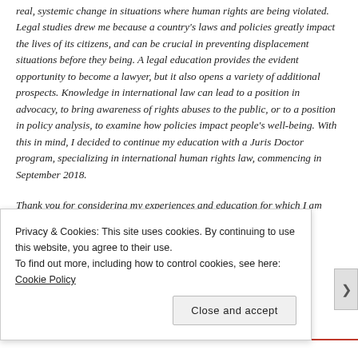real, systemic change in situations where human rights are being violated. Legal studies drew me because a country's laws and policies greatly impact the lives of its citizens, and can be crucial in preventing displacement situations before they being. A legal education provides the evident opportunity to become a lawyer, but it also opens a variety of additional prospects. Knowledge in international law can lead to a position in advocacy, to bring awareness of rights abuses to the public, or to a position in policy analysis, to examine how policies impact people's well-being. With this in mind, I decided to continue my education with a Juris Doctor program, specializing in international human rights law, commencing in September 2018.

Thank you for considering my experiences and education for which I am deeply grateful.
Privacy & Cookies: This site uses cookies. By continuing to use this website, you agree to their use.
To find out more, including how to control cookies, see here: Cookie Policy